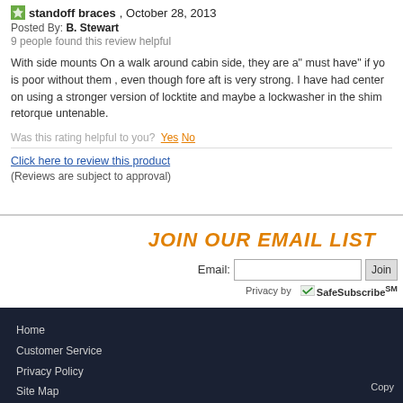standoff braces, October 28, 2013
Posted By: B. Stewart
9 people found this review helpful
With side mounts On a walk around cabin side, they are a" must have" if yo is poor without them , even though fore aft is very strong. I have had center on using a stronger version of locktite and maybe a lockwasher in the shim retorque untenable.
Was this rating helpful to you?  Yes  No
Click here to review this product
(Reviews are subject to approval)
JOIN OUR EMAIL LIST
Email:
Privacy by SafeSubscribeSM
Home
Customer Service
Privacy Policy
Site Map
Copy